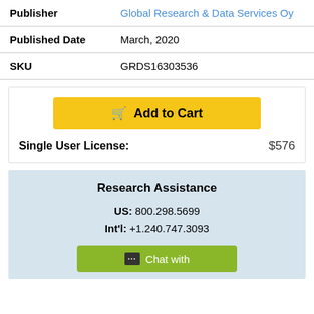| Label | Value |
| --- | --- |
| Publisher | Global Research & Data Services Oy |
| Published Date | March, 2020 |
| SKU | GRDS16303536 |
Add to Cart
Single User License: $576
Research Assistance
US: 800.298.5699
Int'l: +1.240.747.3093
Chat with